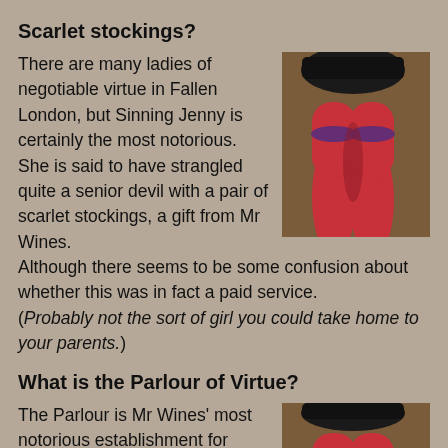Scarlet stockings?
[Figure (illustration): Illustration of red-stockinged legs with purple garter and black hat/hair visible at top, on a brown background]
There are many ladies of negotiable virtue in Fallen London, but Sinning Jenny is certainly the most notorious. She is said to have strangled quite a senior devil with a pair of scarlet stockings, a gift from Mr Wines. Although there seems to be some confusion about whether this was in fact a paid service. (Probably not the sort of girl you could take home to your parents.)
What is the Parlour of Virtue?
[Figure (illustration): Illustration of red-stockinged legs with purple garter and black hat/hair visible at top, on a brown background (repeated)]
The Parlour is Mr Wines' most notorious establishment for sating the appetites of flesh